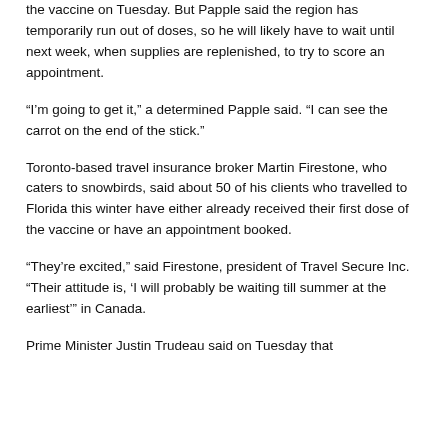the vaccine on Tuesday. But Papple said the region has temporarily run out of doses, so he will likely have to wait until next week, when supplies are replenished, to try to score an appointment.
“I’m going to get it,” a determined Papple said. “I can see the carrot on the end of the stick.”
Toronto-based travel insurance broker Martin Firestone, who caters to snowbirds, said about 50 of his clients who travelled to Florida this winter have either already received their first dose of the vaccine or have an appointment booked.
“They’re excited,” said Firestone, president of Travel Secure Inc. “Their attitude is, ‘I will probably be waiting till summer at the earliest’” in Canada.
Prime Minister Justin Trudeau said on Tuesday that